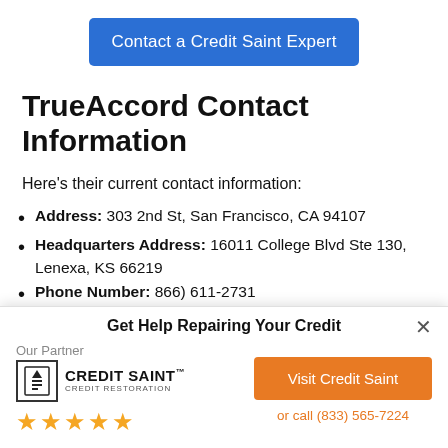[Figure (other): Blue button: Contact a Credit Saint Expert]
TrueAccord Contact Information
Here's their current contact information:
Address: 303 2nd St, San Francisco, CA 94107
Headquarters Address: 16011 College Blvd Ste 130, Lenexa, KS 66219
Phone Number: 866) 611-2731
[Figure (other): Popup: Get Help Repairing Your Credit — Our Partner Credit Saint logo with 5 stars, Visit Credit Saint orange button, or call (833) 565-7224]